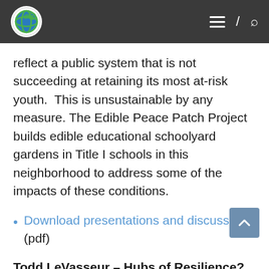Navigation header with logo, hamburger menu, slash, and search icon
reflect a public system that is not succeeding at retaining its most at-risk youth. This is unsustainable by any measure. The Edible Peace Patch Project builds edible educational schoolyard gardens in Title I schools in this neighborhood to address some of the impacts of these conditions.
Download presentations and discussion (pdf)
Todd LeVasseur – Hubs of Resilience? Cultivating Food Sheds via Food Hubs: